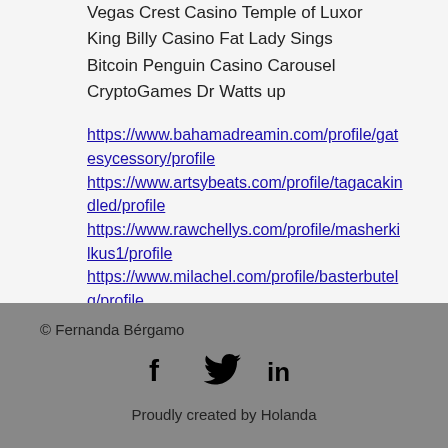Vegas Crest Casino Temple of Luxor
King Billy Casino Fat Lady Sings
Bitcoin Penguin Casino Carousel
CryptoGames Dr Watts up
https://www.bahamadreamin.com/profile/gatesycessory/profile
https://www.artsybeats.com/profile/tagacakindled/profile
https://www.rawchellys.com/profile/masherkikrus1/profile
https://www.milachel.com/profile/basterbutelq/profile
© Fernanda Bérgamo
Proudly created by Holanda